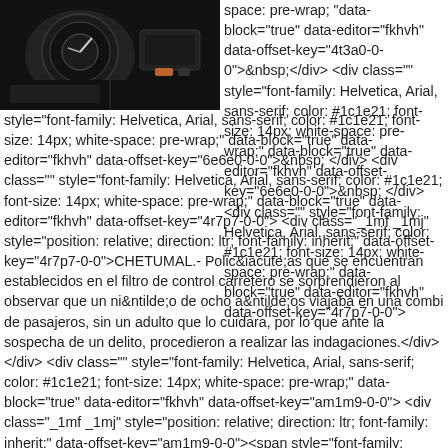[Figure (photo): Car interior dashboard photo, dark tones]
space: pre-wrap; "data-block="true" data-editor="fkhvh" data-offset-key="4t3a0-0-0">&nbsp;</div> <div class="" style="font-family: Helvetica, Arial, sans-serif; color: #1c1e21; font-size: 14px; white-space: pre-wrap;" data-block="true" data-editor="fkhvh" data-offset-key="6e6e0-0-0">&nbsp; </div> <div class="" style="font-family: Helvetica, Arial, sans-serif; color: #1c1e21; font-size: 14px; white-space: pre-wrap;" data-block="true" data-editor="fkhvh" data-offset-key="4r7p7-0-0"> <div class="_1mf _1mj" style="position: relative; direction: ltr; font-family: inherit;" data-offset-key="4r7p7-0-0">CHETUMAL.- Policías que se encuentran establecidos en el filtro de control carretero se sorprendieron al observar que un niño de ocho años viajaba en una combi de pasajeros, sin un adulto que lo cuidara, por lo que ante la sospecha de un delito, procedieron a realizar las indagaciones.</div> </div> <div class="" style="font-family: Helvetica, Arial, sans-serif; color: #1c1e21; font-size: 14px; white-space: pre-wrap;" data-block="true" data-editor="fkhvh" data-offset-key="am1m9-0-0"> <div class="_1mf _1mj" style="position: relative; direction: ltr; font-family: inherit;" data-offset-key="am1m9-0-0"><span style="font-family: inherit;" data-offset-key="am1m9-0-0">&nbsp;</span></div> </div> <div class="" style="font-family: Helvetica, Arial, sans-serif; color: #1c1e21; font-size: 14px; white-space: pre-wrap;"